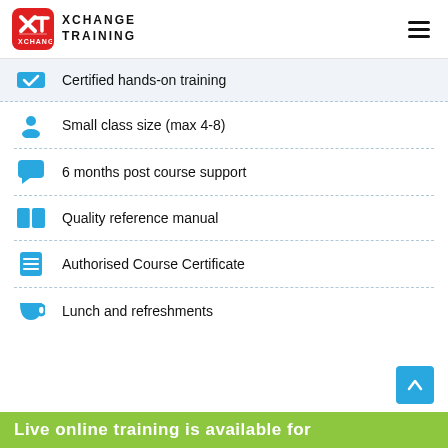[Figure (logo): Xchange Training logo with red rounded square icon containing XT and text XCHANGE TRAINING]
Certified hands-on training
Small class size (max 4-8)
6 months post course support
Quality reference manual
Authorised Course Certificate
Lunch and refreshments
Live online training is available for